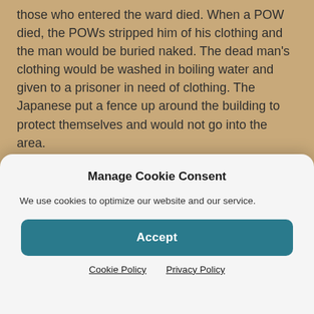those who entered the ward died. When a POW died, the POWs stripped him of his clothing and the man would be buried naked. The dead man's clothing would be washed in boiling water and given to a prisoner in need of clothing. The Japanese put a fence up around the building to protect themselves and would not go into the area.
While in the camp, during July, his parents received a second letter from the War Department. The following is an excerpt from it.
Manage Cookie Consent
We use cookies to optimize our website and our service.
Accept
Cookie Policy   Privacy Policy